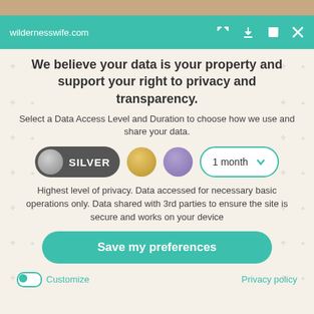wildernesswife.com
We believe your data is your property and support your right to privacy and transparency.
Select a Data Access Level and Duration to choose how we use and share your data.
[Figure (other): Privacy level selector with SILVER toggle (dark pill with gray circle), gold circle, purple circle, and '1 month' dropdown]
Highest level of privacy. Data accessed for necessary basic operations only. Data shared with 3rd parties to ensure the site is secure and works on your device
Save my preferences
Customize
Privacy policy